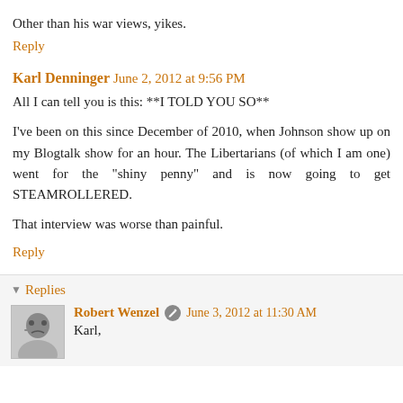Other than his war views, yikes.
Reply
Karl Denninger   June 2, 2012 at 9:56 PM
All I can tell you is this: **I TOLD YOU SO**
I've been on this since December of 2010, when Johnson show up on my Blogtalk show for an hour. The Libertarians (of which I am one) went for the "shiny penny" and is now going to get STEAMROLLERED.
That interview was worse than painful.
Reply
▼ Replies
Robert Wenzel   June 3, 2012 at 11:30 AM
Karl,